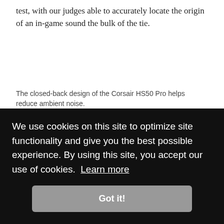test, with our judges able to accurately locate the origin of an in-game sound the bulk of the tie.
The closed-back design of the Corsair HS50 Pro helps reduce ambient noise.
Credit: Laura Casner
This headset cuts down background noise a small amount, approximately 15-20%. Other players' voices also sound
We use cookies on this site to optimize site functionality and give you the best possible experience. By using this site, you accept our use of cookies.  Learn more
Got it!